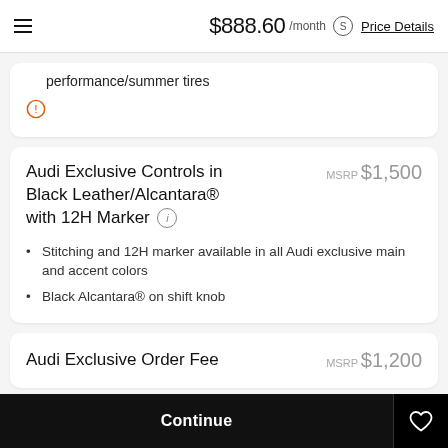$888.60 /month Price Details
performance/summer tires
Audi Exclusive Controls in Black Leather/Alcantara® with 12H Marker
MSRP $1,500
Stitching and 12H marker available in all Audi exclusive main and accent colors
Black Alcantara® on shift knob
Audi Exclusive Order Fee
MSRP $1,200